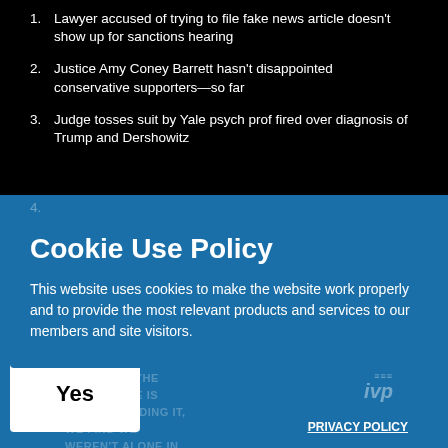1. Lawyer accused of trying to file fake news article doesn't show up for sanctions hearing
2. Justice Amy Coney Barrett hasn't disappointed conservative supporters—so far
3. Judge tosses suit by Yale psych prof fired over diagnosis of Trump and Dershowitz
4.
Cookie Use Policy
This website uses cookies to make the website work properly and to provide the most relevant products and services to our members and site visitors.
Latest featured news ...
PRIVACY POLICY
Yes